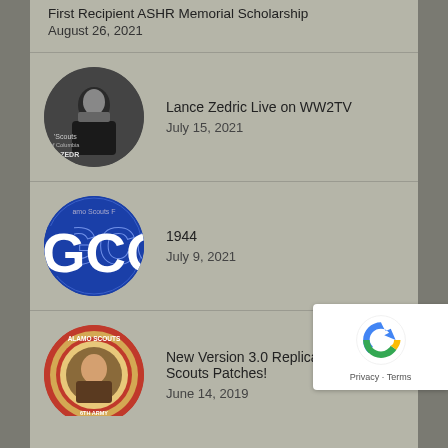First Recipient ASHR Memorial Scholarship
August 26, 2021
[Figure (photo): Circular thumbnail for Lance Zedric Live on WW2TV - black and white military photo]
Lance Zedric Live on WW2TV
July 15, 2021
[Figure (logo): Circular blue badge with GCO text - Alamo Scouts related]
1944
July 9, 2021
[Figure (logo): Circular Alamo Scouts patch with soldier portrait and 6th Army text]
New Version 3.0 Replica Alamo Scouts Patches!
June 14, 2019